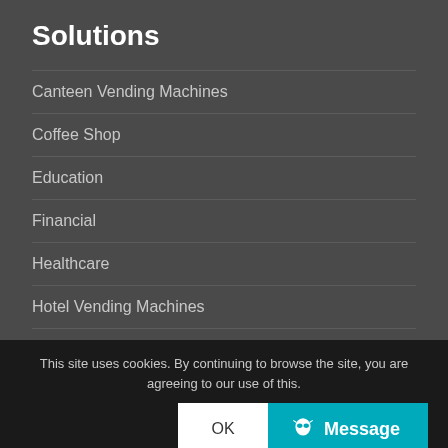Solutions
Canteen Vending Machines
Coffee Shop
Education
Financial
Healthcare
Hotel Vending Machines
Manufacturing
Office Coffee Machines
Restaurant
This site uses cookies. By continuing to browse the site, you are agreeing to our use of this.
OK
Message